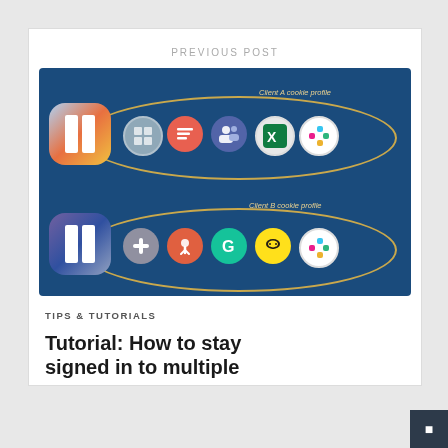PREVIOUS POST
[Figure (infographic): Diagram showing two rows of app icons each enclosed in a golden ellipse on a dark blue background. Row 1 labeled 'Client A cookie profile' shows a browser/Taskade icon followed by icons for various apps (Asana/Todoist, Teams, Excel, Slack). Row 2 labeled 'Client B cookie profile' shows a second browser/Taskade icon followed by icons for other apps (a cross/plus app, HubSpot, Grammarly, Mailchimp, Slack).]
TIPS & TUTORIALS
Tutorial: How to stay signed in to multiple